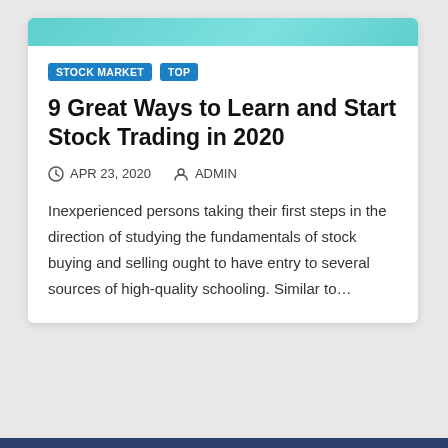[Figure (illustration): Teal/cyan header image strip at the top of the article card]
STOCK MARKET
TOP
9 Great Ways to Learn and Start Stock Trading in 2020
APR 23, 2020   ADMIN
Inexperienced persons taking their first steps in the direction of studying the fundamentals of stock buying and selling ought to have entry to several sources of high-quality schooling. Similar to…